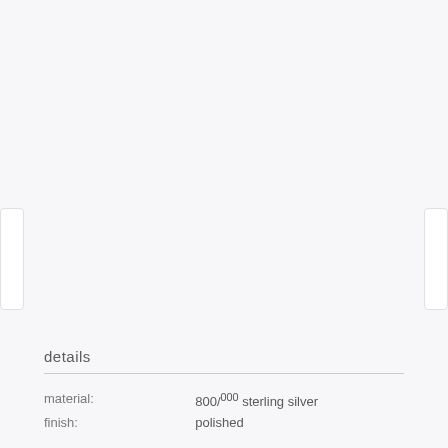[Figure (photo): Product image area with light gray background, showing navigation arrows on left and right sides]
details
| material: | 800/000 sterling silver |
| finish: | polished |